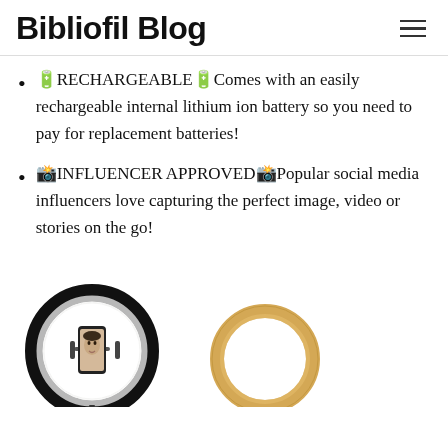Bibliofil Blog
🔋RECHARGEABLE🔋Comes with an easily rechargeable internal lithium ion battery so you need to pay for replacement batteries!
📸INFLUENCER APPROVED📸Popular social media influencers love capturing the perfect image, video or stories on the go!
[Figure (photo): Two ring lights: left shows a large black ring light with a phone holder in the center displaying a portrait photo; right shows a smaller gold/tan colored ring light.]